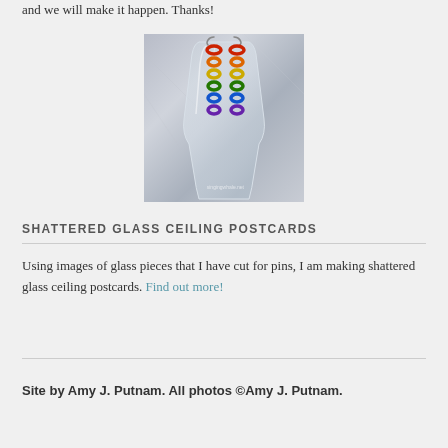and we will make it happen. Thanks!
[Figure (photo): Rainbow chainmaille earrings hanging on a crystal glass, showing colorful rings in red, orange, yellow, green, blue, and purple. Watermark reads singingwhale.net]
SHATTERED GLASS CEILING POSTCARDS
Using images of glass pieces that I have cut for pins, I am making shattered glass ceiling postcards. Find out more!
Site by Amy J. Putnam. All photos ©Amy J. Putnam.